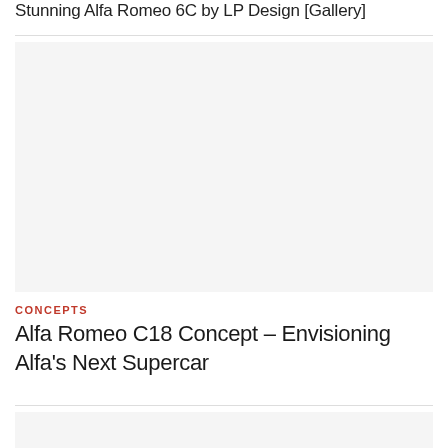Stunning Alfa Romeo 6C by LP Design [Gallery]
[Figure (photo): Car image placeholder area for Stunning Alfa Romeo 6C by LP Design gallery]
CONCEPTS
Alfa Romeo C18 Concept – Envisioning Alfa's Next Supercar
[Figure (photo): Car image placeholder area for Alfa Romeo C18 Concept article]